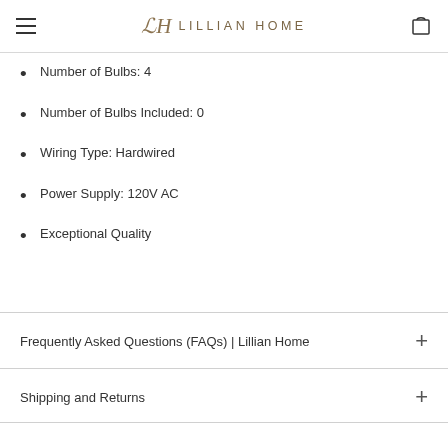LILLIAN HOME
Number of Bulbs: 4
Number of Bulbs Included: 0
Wiring Type: Hardwired
Power Supply: 120V AC
Exceptional Quality
Frequently Asked Questions (FAQs) | Lillian Home
Shipping and Returns